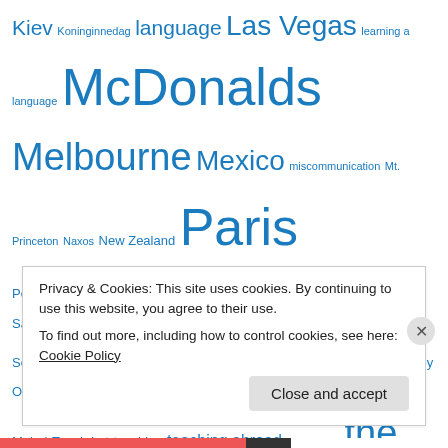Kiev Koninginnedag language Las Vegas learning a language McDonalds Melbourne Mexico miscommunication Mt. Princeton Naxos New Zealand Paris Peru Queen's Day Red Light District rocks Rotterdam Saigon Sanur scaffolding Semana Santa South Australia Spain St. Maarten Sydney Sydney Opera House Taj Mahal Tanah Lot teaching teaching abroad the Duomo the Netherlands Toronto traffic signs travel Travel Ahh traveling with kids travel misadventure Travel Mishap travel mishaps Travel oops Ukraine Uluru United Kingdom Vegemite Vietnam water Western Australia
Privacy & Cookies: This site uses cookies. By continuing to use this website, you agree to their use. To find out more, including how to control cookies, see here: Cookie Policy
Close and accept